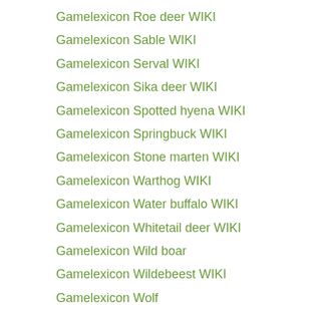Gamelexicon Roe deer WIKI
Gamelexicon Sable WIKI
Gamelexicon Serval WIKI
Gamelexicon Sika deer WIKI
Gamelexicon Spotted hyena WIKI
Gamelexicon Springbuck WIKI
Gamelexicon Stone marten WIKI
Gamelexicon Warthog WIKI
Gamelexicon Water buffalo WIKI
Gamelexicon Whitetail deer WIKI
Gamelexicon Wild boar
Gamelexicon Wildebeest WIKI
Gamelexicon Wolf
Home
Home_second
Hunting destinations
Hunting in Alaska